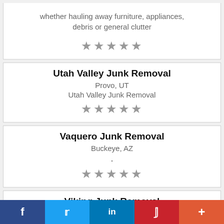whether hauling away furniture, appliances, debris or general clutter
★★★★★
Utah Valley Junk Removal
Provo, UT
Utah Valley Junk Removal
★★★★★
Vaquero Junk Removal
Buckeye, AZ
.
★★★★★
Viking Junk Removal
Modesto, CA
f  🐦  in  P  +